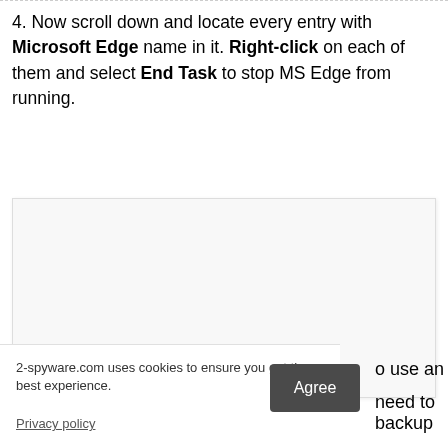4. Now scroll down and locate every entry with Microsoft Edge name in it. Right-click on each of them and select End Task to stop MS Edge from running.
[Figure (screenshot): Screenshot placeholder showing a partially visible Windows Task Manager or similar window with Microsoft Edge processes listed.]
2-spyware.com uses cookies to ensure you get the best experience.
Privacy policy
Agree
o use an
need to backup